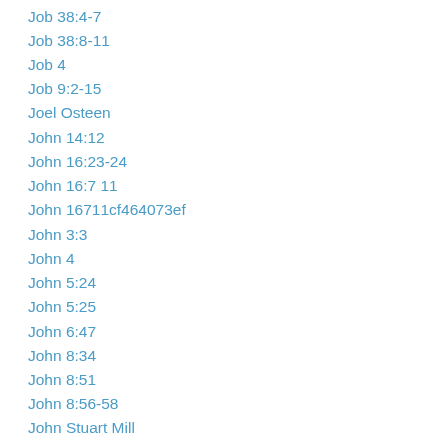Job 38:4-7
Job 38:8-11
Job 4
Job 9:2-15
Joel Osteen
John 14:12
John 16:23-24
John 16:7 11
John 16711cf464073ef
John 3:3
John 4
John 5:24
John 5:25
John 6:47
John 8:34
John 8:51
John 8:56-58
John Stuart Mill
Joy
Joy In Weakness
Judah